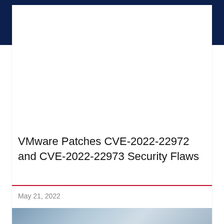[Figure (photo): Dark navy blue banner at the top of the page serving as a header background]
VMware Patches CVE-2022-22972 and CVE-2022-22973 Security Flaws
May 21, 2022
[Figure (photo): Photo of a laptop with a sign reading CYBERSECURITY PLAN, with security icons visible on the screen]